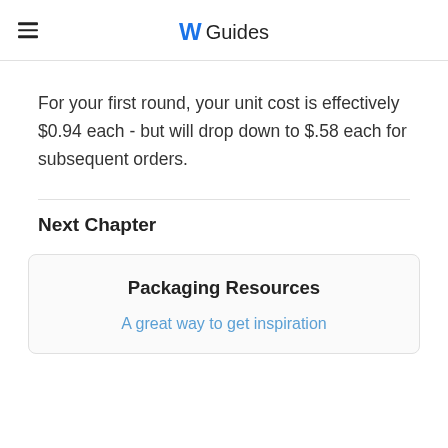W Guides
For your first round, your unit cost is effectively $0.94 each - but will drop down to $.58 each for subsequent orders.
Next Chapter
Packaging Resources
A great way to get inspiration